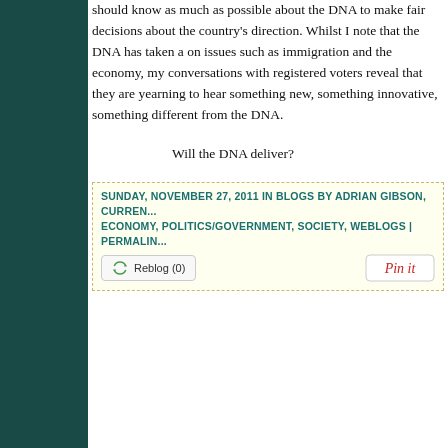should know as much as possible about the DNA to make fair decisions about the country's direction. Whilst I note that the DNA has taken a on issues such as immigration and the economy, my conversations with registered voters reveal that they are yearning to hear something new, something innovative, something different from the DNA.
Will the DNA deliver?
SUNDAY, NOVEMBER 27, 2011 IN BLOGS BY ADRIAN GIBSON, CURRENT EVENTS, ECONOMY, POLITICS/GOVERNMENT, SOCIETY, WEBLOGS | PERMALINK
[Figure (other): Reblog (0) button with green recycling icon and Pin It button in red/white]